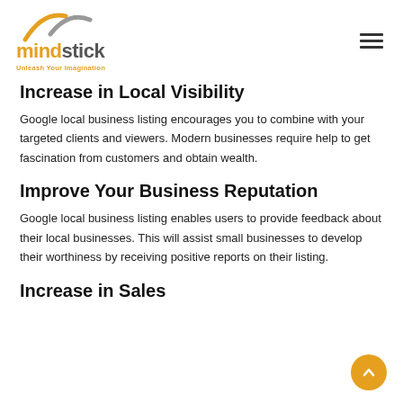mindstick Unleash Your Imagination
Increase in Local Visibility
Google local business listing encourages you to combine with your targeted clients and viewers. Modern businesses require help to get fascination from customers and obtain wealth.
Improve Your Business Reputation
Google local business listing enables users to provide feedback about their local businesses. This will assist small businesses to develop their worthiness by receiving positive reports on their listing.
Increase in Sales